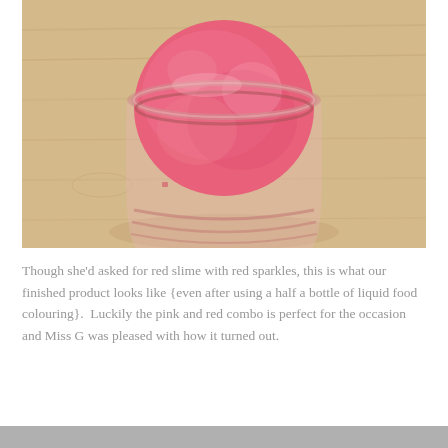[Figure (photo): Top-down view of a pink/red smoothie or slime in a glass mason jar, sitting on a light wood surface]
Though she'd asked for red slime with red sparkles, this is what our finished product looks like {even after using a half a bottle of liquid food colouring}.  Luckily the pink and red combo is perfect for the occasion and Miss G was pleased with how it turned out.